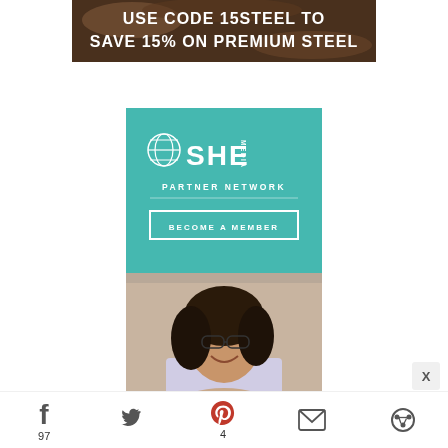[Figure (advertisement): Top banner ad with dark food background showing text: USE CODE 15STEEL TO SAVE 15% ON PREMIUM STEEL]
[Figure (advertisement): SHE Media Partner Network advertisement with teal background, globe logo, BECOME A MEMBER button, and photo of a smiling woman with glasses at a laptop]
97
4